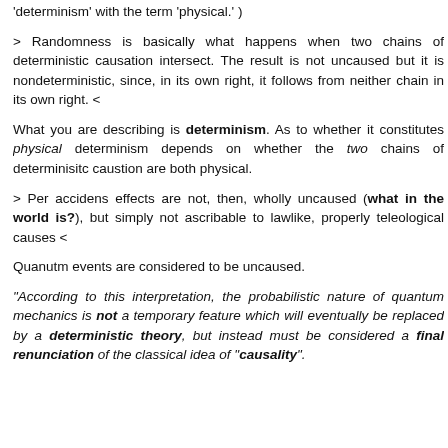determinism' with the term 'physical.' )
> Randomness is basically what happens when two chains of deterministic causation intersect. The result is not uncaused but it is nondeterministic, since, in its own right, it follows from neither chain in its own right. <
What you are describing is determinism. As to whether it constitutes physical determinism depends on whether the two chains of determinisitc caustion are both physical.
> Per accidens effects are not, then, wholly uncaused (what in the world is?), but simply not ascribable to lawlike, properly teleological causes <
Quanutm events are considered to be uncaused.
"According to this interpretation, the probabilistic nature of quantum mechanics is not a temporary feature which will eventually be replaced by a deterministic theory, but instead must be considered a final renunciation of the classical idea of "causality".